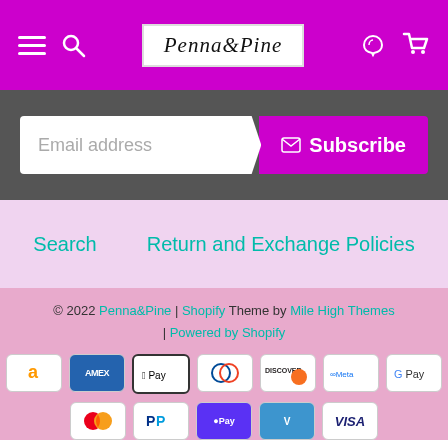Penna&Pine — navigation header with hamburger menu, search, logo, account and cart icons
Email address
Subscribe
Search    Return and Exchange Policies
© 2022 Penna&Pine | Shopify Theme by Mile High Themes | Powered by Shopify
[Figure (other): Payment method icons: Amazon Pay, American Express, Apple Pay, Diners Club, Discover, Meta Pay, Google Pay, Mastercard, PayPal, Shop Pay, Venmo, Visa]